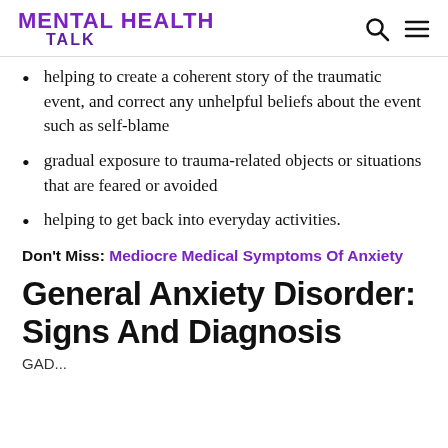MENTAL HEALTH TALK
helping to create a coherent story of the traumatic event, and correct any unhelpful beliefs about the event such as self-blame
gradual exposure to trauma-related objects or situations that are feared or avoided
helping to get back into everyday activities.
Don't Miss: Mediocre Medical Symptoms Of Anxiety
General Anxiety Disorder: Signs And Diagnosis
GAD...